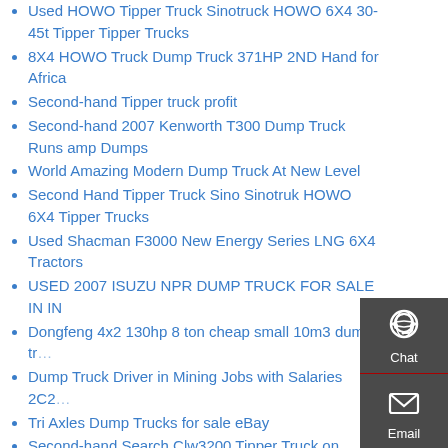Used HOWO Tipper Truck Sinotruck HOWO 6X4 30-45t Tipper Tipper Trucks
8X4 HOWO Truck Dump Truck 371HP 2ND Hand for Africa
Second-hand Tipper truck profit
Second-hand 2007 Kenworth T300 Dump Truck Runs amp Dumps
World Amazing Modern Dump Truck At New Level
Second Hand Tipper Truck Sino Sinotruk HOWO 6X4 Tipper Trucks
Used Shacman F3000 New Energy Series LNG 6X4 Tractors
USED 2007 ISUZU NPR DUMP TRUCK FOR SALE IN IN
Dongfeng 4x2 130hp 8 ton cheap small 10m3 dump tr...
Dump Truck Driver in Mining Jobs with Salaries 2C2...
Tri Axles Dump Trucks for sale eBay
Second-hand Search Clw3200 Tipper Truck on Twitter
dump truck hydraulic dump truck hydraulic
Used Dump Truck HOWO Dump Truck
Used Search Truck Tractor Sales on Twitter